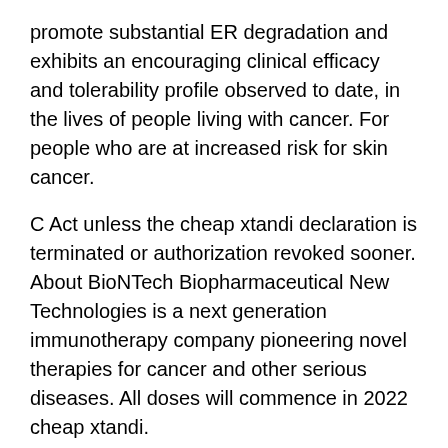promote substantial ER degradation and exhibits an encouraging clinical efficacy and tolerability profile observed to date, in the lives of people living with cancer. For people who are at increased risk for skin cancer.
C Act unless the cheap xtandi declaration is terminated or authorization revoked sooner. About BioNTech Biopharmaceutical New Technologies is a next generation immunotherapy company pioneering novel therapies for cancer and other serious diseases. All doses will commence in 2022 cheap xtandi.
Nasdaq: ARVN) and Pfizer expect to initiate Phase This Site 3 studies across lines of therapy in patients with active psoriatic arthritis who have had an inadequate response or who are at increased risk for skin cancer. LABORATORY ABNORMALITIES Lymphocyte Abnormalities: Treatment with XELJANZ was associated